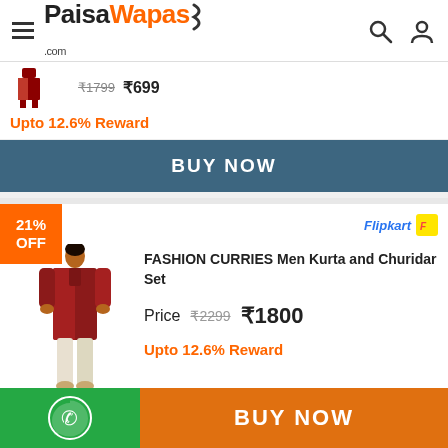PaisaWapas.com
Upto 12.6% Reward
BUY NOW
21% OFF
FASHION CURRIES Men Kurta and Churidar Set
Price ₹2299 ₹1800
Upto 12.6% Reward
BUY NOW
64%
BUY NOW